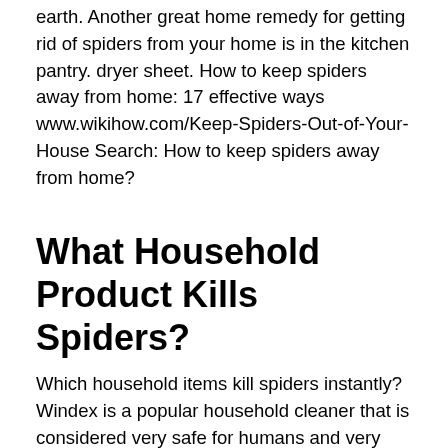earth. Another great home remedy for getting rid of spiders from your home is in the kitchen pantry. dryer sheet. How to keep spiders away from home: 17 effective ways www.wikihow.com/Keep-Spiders-Out-of-Your-House Search: How to keep spiders away from home?
What Household Product Kills Spiders?
Which household items kill spiders instantly? Windex is a popular household cleaner that is considered very safe for humans and very